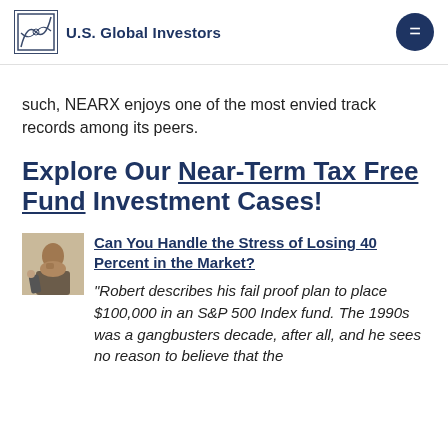U.S. Global Investors
such, NEARX enjoys one of the most envied track records among its peers.
Explore Our Near-Term Tax Free Fund Investment Cases!
[Figure (photo): Photo of a man in a suit on the phone, appearing stressed]
Can You Handle the Stress of Losing 40 Percent in the Market?
“Robert describes his fail proof plan to place $100,000 in an S&P 500 Index fund. The 1990s was a gangbusters decade, after all, and he sees no reason to believe that the